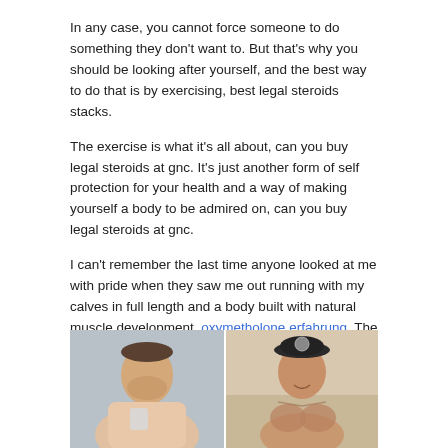In any case, you cannot force someone to do something they don't want to. But that's why you should be looking after yourself, and the best way to do that is by exercising, best legal steroids stacks.
The exercise is what it's all about, can you buy legal steroids at gnc. It's just another form of self protection for your health and a way of making yourself a body to be admired on, can you buy legal steroids at gnc.
I can't remember the last time anyone looked at me with pride when they saw me out running with my calves in full length and a body built with natural muscle development, oxymetholone erfahrung. The muscles that could make you a professional football player, can you buy steroids at gnc.
And you know what? You're not a professional football player, legal stacks best steroids. You aren't a bodybuilder. You just aren't a good enough runner for sport. What I can do, which is quite different still from regular training, is to take as many as I can, every day, can you buy steroids in dubai0.
[Figure (photo): Two side-by-side photos of a man showing body transformation: left photo shows heavier build, right photo shows leaner muscular build wearing a baseball cap]